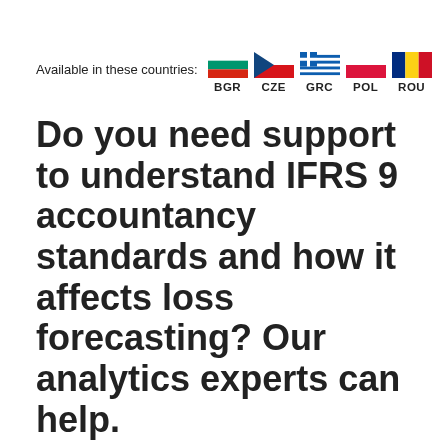[Figure (infographic): Row of five country flags (Bulgaria, Czech Republic, Greece, Poland, Romania) with their 3-letter country codes (BGR, CZE, GRC, POL, ROU) below each flag, preceded by the label 'Available in these countries:']
Do you need support to understand IFRS 9 accountancy standards and how it affects loss forecasting? Our analytics experts can help.
The International Financial Reporting Standard (IFRS) 9 sees businesses making significant changes to the way expected credit losses are calculated. As a specialist in loss